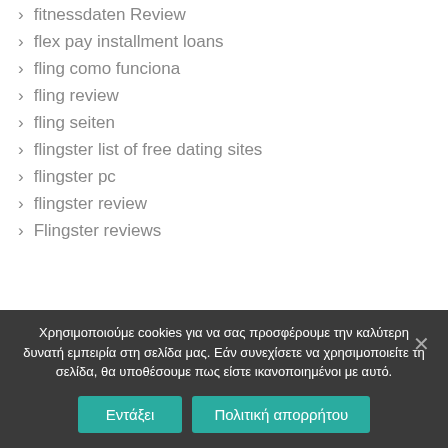fitnessdaten Review
flex pay installment loans
fling como funciona
fling review
fling seiten
flingster list of free dating sites
flingster pc
flingster review
Flingster reviews
Χρησιμοποιούμε cookies για να σας προσφέρουμε την καλύτερη δυνατή εμπειρία στη σελίδα μας. Εάν συνεχίσετε να χρησιμοποιείτε τη σελίδα, θα υποθέσουμε πως είστε ικανοποιημένοι με αυτό.